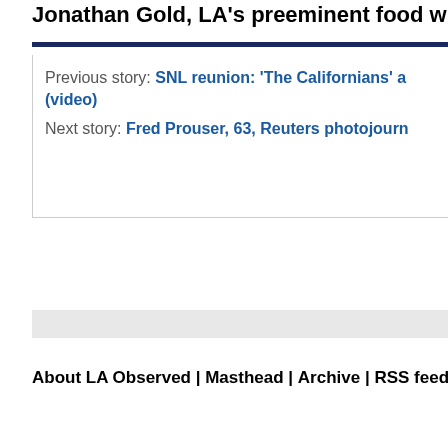Jonathan Gold, LA's preeminent food writer, has d
Previous story: SNL reunion: 'The Californians' a (video)
Next story: Fred Prouser, 63, Reuters photojourn
About LA Observed | Masthead | Archive | RSS feeds | LAO by